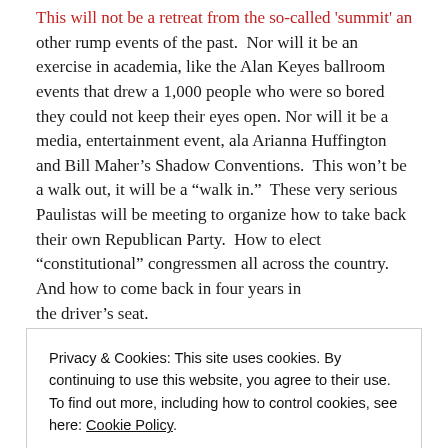This will not be a retreat from the so-called 'summit' and other rump events of the past.  Nor will it be an exercise in academia, like the Alan Keyes ballroom events that drew a 1,000 people who were so bored they could not keep their eyes open.  Nor will it be a media, entertainment event, ala Arianna Huffington and Bill Maher's Shadow Conventions.  This won't be a walk out, it will be a "walk in."  These very serious Paulistas will be meeting to organize how to take back their own Republican Party.  How to elect "constitutional" congressmen all across the country.  And how to come back in four years in the driver's seat.
Privacy & Cookies: This site uses cookies. By continuing to use this website, you agree to their use. To find out more, including how to control cookies, see here: Cookie Policy
Close and accept
afford to be nice, and we need them for November."